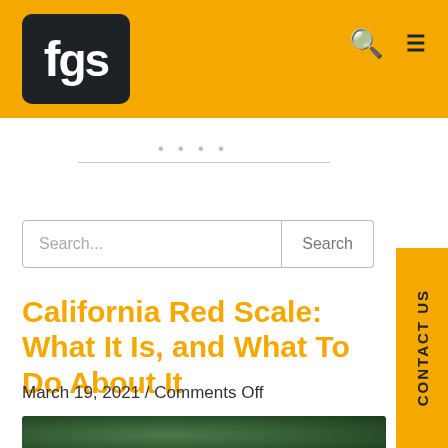[Figure (logo): FGS logo: dark rounded square with white 'fgs' text on golden/amber background header bar]
[Figure (screenshot): Search bar with placeholder text 'Search...' and a Search button]
California Red Scale: What It Is, and What To Do About It
March 19, 2021 / Comments Off
[Figure (photo): Partial view of a plant/citrus photo at the bottom of the page]